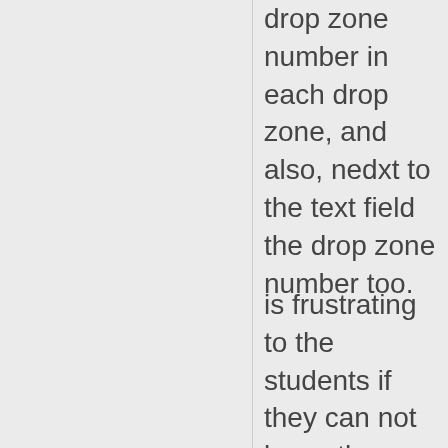drop zone number in each drop zone, and also, nedxt to the text field the drop zone number too.
is frustrating to the students if they can not know the